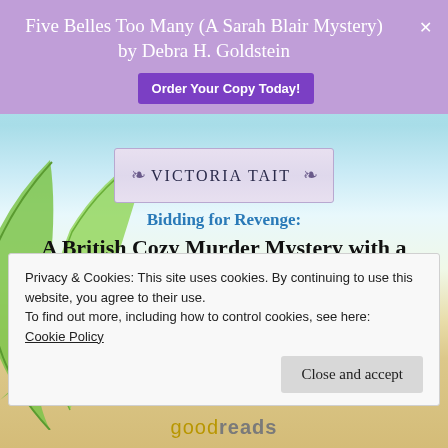Five Belles Too Many (A Sarah Blair Mystery) by Debra H. Goldstein
[Figure (logo): Order Your Copy Today! purple button]
[Figure (logo): Victoria Tait author logo banner with decorative scrollwork]
[Figure (illustration): Beach background with palm leaves, sky, water, and sand]
Bidding for Revenge: A British Cozy Murder Mystery with a Female Amateur Sleuth (A Dotty Sayers Antique Mystery) by Victoria Tait
Privacy & Cookies: This site uses cookies. By continuing to use this website, you agree to their use. To find out more, including how to control cookies, see here: Cookie Policy
Close and accept
[Figure (logo): Goodreads logo at bottom]